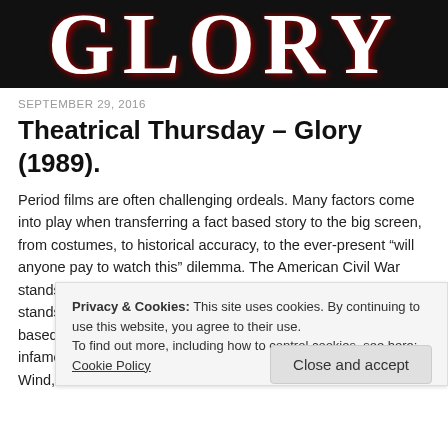[Figure (illustration): Black banner with large serif 'GLORY' text in white with red shadow effect]
SEPTEMBER 29, 2016
Theatrical Thursday – Glory (1989).
Period films are often challenging ordeals. Many factors come into play when transferring a fact based story to the big screen, from costumes, to historical accuracy, to the ever-present “will anyone pay to watch this” dilemma. The American Civil War stands among the pivotal moments in our nation’s history, so it stands as no surprise that there have been a plethora of flicks based on that time period made over the years, from the infamous Birth of a Nation in 1915, the legendary Gone with the Wind, and
Privacy & Cookies: This site uses cookies. By continuing to use this website, you agree to their use.
To find out more, including how to control cookies, see here: Cookie Policy
Close and accept